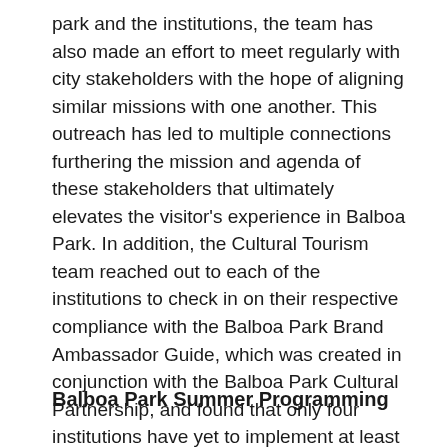park and the institutions, the team has also made an effort to meet regularly with city stakeholders with the hope of aligning similar missions with one another. This outreach has led to multiple connections furthering the mission and agenda of these stakeholders that ultimately elevates the visitor's experience in Balboa Park. In addition, the Cultural Tourism team reached out to each of the institutions to check in on their respective compliance with the Balboa Park Brand Ambassador Guide, which was created in conjunction with the Balboa Park Cultural Partnership, and found that only four institutions have yet to implement at least some of the recommendations. Please see appendix for full report.
Balboa Park Summer Programming